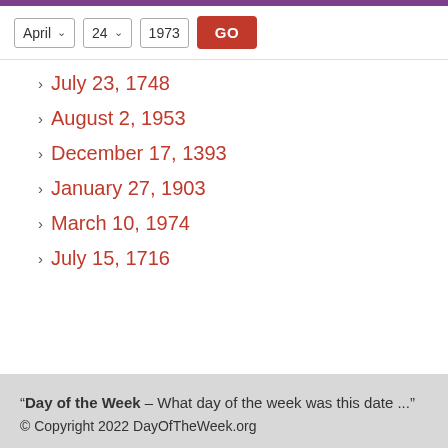[Figure (screenshot): Web UI controls: dropdown showing 'April', dropdown showing '24', text input showing '1973', and a red GO button]
July 23, 1748
August 2, 1953
December 17, 1393
January 27, 1903
March 10, 1974
July 15, 1716
"Day of the Week – What day of the week was this date ..." © Copyright 2022 DayOfTheWeek.org